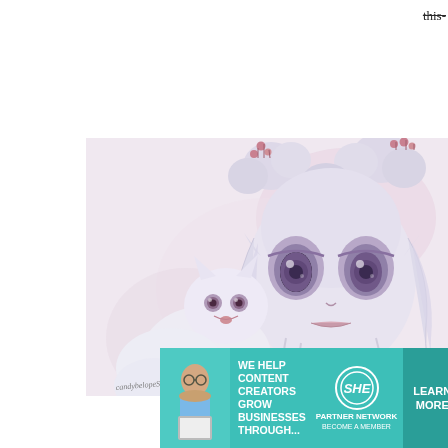this-
[Figure (illustration): Fantasy art illustration of a pale girl with big violet eyes, elaborate white bun hairstyle with pink berry accents, pointy ears, holding a white fox/cat. Soft pink and white color palette. Artist signature at bottom left. Painted in a pop surrealism style.]
[Figure (other): Close button X in white box, positioned at right edge near bottom of artwork]
[Figure (other): Advertisement banner: teal/turquoise background. Shows woman with laptop on left. Text: WE HELP CONTENT CREATORS GROW BUSINESSES THROUGH... SHE PARTNER NETWORK BECOME A MEMBER. Green LEARN MORE button on right.]